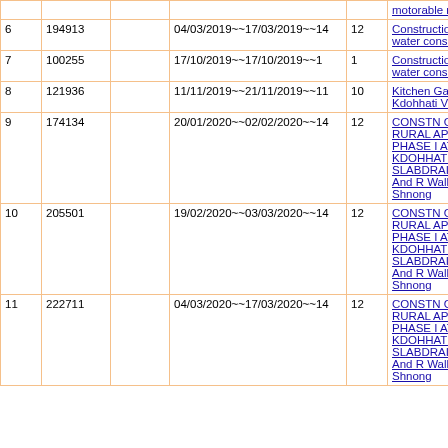| # | ID |  | Dates | Days | Description |
| --- | --- | --- | --- | --- | --- |
|  |  |  |  |  | motorable road |
| 6 | 194913 |  | 04/03/2019~~17/03/2019~~14 | 12 | Construction of water conservation |
| 7 | 100255 |  | 17/10/2019~~17/10/2019~~1 | 1 | Construction of water conservation |
| 8 | 121936 |  | 11/11/2019~~21/11/2019~~11 | 10 | Kitchen Garden at Kdohhati VEC |
| 9 | 174134 |  | 20/01/2020~~02/02/2020~~14 | 12 | CONSTN OF RURAL APP ROAD PHASE I AT KDOHHATIC SLABDRAIN soling And R Wall at khlaw Shnong |
| 10 | 205501 |  | 19/02/2020~~03/03/2020~~14 | 12 | CONSTN OF RURAL APP ROAD PHASE I AT KDOHHATIC SLABDRAIN soling And R Wall at khlaw Shnong |
| 11 | 222711 |  | 04/03/2020~~17/03/2020~~14 | 12 | CONSTN OF RURAL APP ROAD PHASE I AT KDOHHATIC SLABDRAIN soling And R Wall at khlaw Shnong |